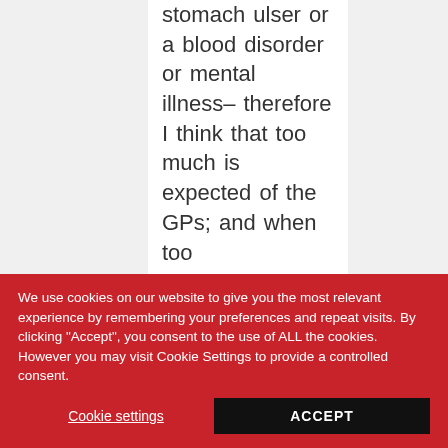stomach ulser or a blood disorder or mental illness– therefore I think that too much is expected of the GPs; and when too
We use cookies on our website to give you the most relevant experience by remembering your preferences and repeat visits. By clicking "Accept", you consent to the use of ALL the cookies. However you may visit Cookie Settings to provide a controlled consent.
Cookie settings
ACCEPT